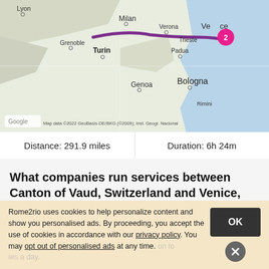[Figure (map): Google Maps screenshot showing northern Italy and surrounding region. A purple route line runs from the Milan area eastward through Verona to Venice (marked with a pink pin labeled '2'). Cities visible include Lyon, Grenoble, Turin, Milan, Verona, Venice, Padua, Trieste, Genoa, Bologna, Rimini, Ljubljana. Map credit reads 'Map data ©2022 GeoBasis-DE/BKG (©2009); Inst. Geogr. Nacional'.]
| Distance | Duration |
| --- | --- |
| Distance: 291.9 miles | Duration: 6h 24m |
What companies run services between Canton of Vaud, Switzerland and Venice, Italy?
Swiss Railways (SBB/CFF/FFS) operates a train from Lausanne to Venezia S. Lucia once daily. Tickets cost $170 - $320 and the journey takes 6h 24m. Alternatively, ... on to ... ies a day.
Rome2rio uses cookies to help personalize content and show you personalised ads. By proceeding, you accept the use of cookies in accordance with our privacy policy. You may opt out of personalised ads at any time.